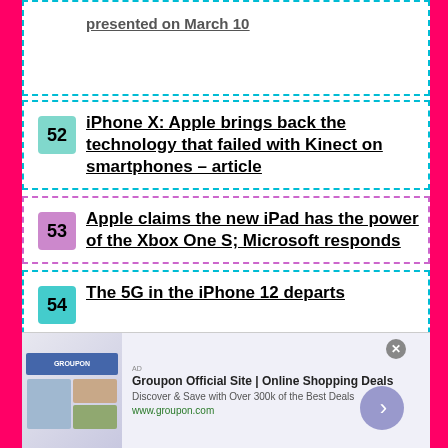presented on March 10
52 iPhone X: Apple brings back the technology that failed with Kinect on smartphones – article
53 Apple claims the new iPad has the power of the Xbox One S; Microsoft responds
54 The 5G in the iPhone 12 departs
[Figure (screenshot): Groupon advertisement banner: Groupon Official Site | Online Shopping Deals. Discover & Save with Over 300k of the Best Deals. www.groupon.com]